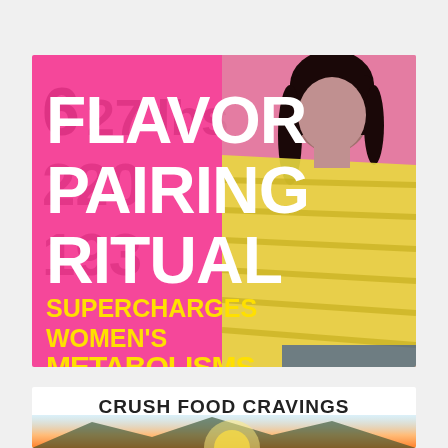[Figure (infographic): Advertisement banner with pink background showing a woman in yellow striped oversized shirt pulling it away from her body. Text reads: FLAVOR PAIRING RITUAL SUPERCHARGES WOMEN'S METABOLISMS with a cyan WATCH VIDEO button.]
[Figure (infographic): Advertisement banner with white background and sunset/landscape image at bottom. Text reads: CRUSH FOOD CRAVINGS]